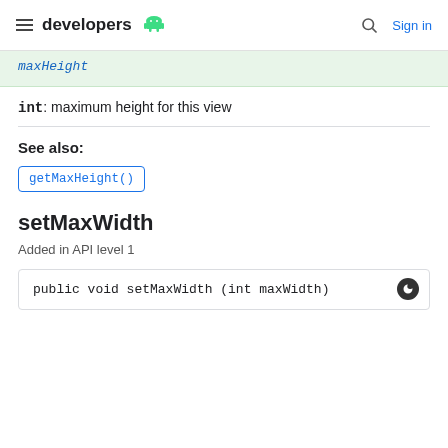developers (Android logo) | Search | Sign in
maxHeight
int: maximum height for this view
See also:
getMaxHeight()
setMaxWidth
Added in API level 1
public void setMaxWidth (int maxWidth)